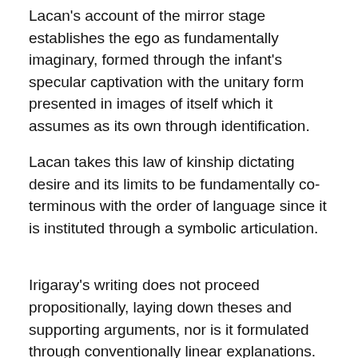Lacan's account of the mirror stage establishes the ego as fundamentally imaginary, formed through the infant's specular captivation with the unitary form presented in images of itself which it assumes as its own through identification.
Lacan takes this law of kinship dictating desire and its limits to be fundamentally co-terminous with the order of language since it is instituted through a symbolic articulation.
Irigaray's writing does not proceed propositionally, laying down theses and supporting arguments, nor is it formulated through conventionally linear explanations. Freud distinguishes human drives from instincts insofar as drives unlike instincts have no pre-given aim or object supplied by nature and follow no pre-set biological path.